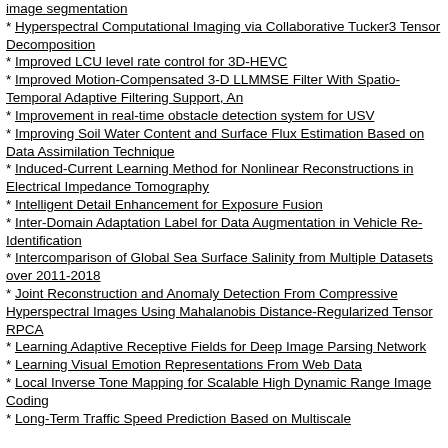image segmentation
Hyperspectral Computational Imaging via Collaborative Tucker3 Tensor Decomposition
Improved LCU level rate control for 3D-HEVC
Improved Motion-Compensated 3-D LLMMSE Filter With Spatio-Temporal Adaptive Filtering Support, An
Improvement in real-time obstacle detection system for USV
Improving Soil Water Content and Surface Flux Estimation Based on Data Assimilation Technique
Induced-Current Learning Method for Nonlinear Reconstructions in Electrical Impedance Tomography
Intelligent Detail Enhancement for Exposure Fusion
Inter-Domain Adaptation Label for Data Augmentation in Vehicle Re-Identification
Intercomparison of Global Sea Surface Salinity from Multiple Datasets over 2011-2018
Joint Reconstruction and Anomaly Detection From Compressive Hyperspectral Images Using Mahalanobis Distance-Regularized Tensor RPCA
Learning Adaptive Receptive Fields for Deep Image Parsing Network
Learning Visual Emotion Representations From Web Data
Local Inverse Tone Mapping for Scalable High Dynamic Range Image Coding
Long-Term Traffic Speed Prediction Based on Multiscale